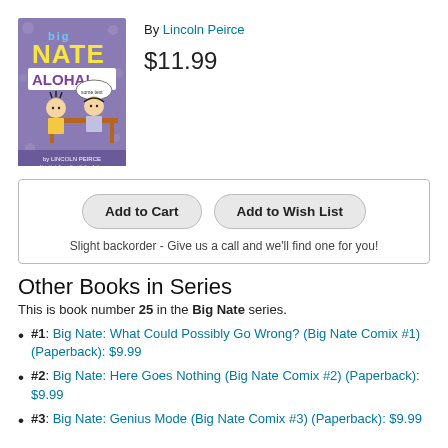[Figure (illustration): Book cover of Big Nate Aloha! by Lincoln Peirce. Purple background with cartoon characters.]
By Lincoln Peirce
$11.99
Add to Cart
Add to Wish List
Slight backorder - Give us a call and we'll find one for you!
Other Books in Series
This is book number 25 in the Big Nate series.
#1: Big Nate: What Could Possibly Go Wrong? (Big Nate Comix #1) (Paperback): $9.99
#2: Big Nate: Here Goes Nothing (Big Nate Comix #2) (Paperback): $9.99
#3: Big Nate: Genius Mode (Big Nate Comix #3) (Paperback): $9.99